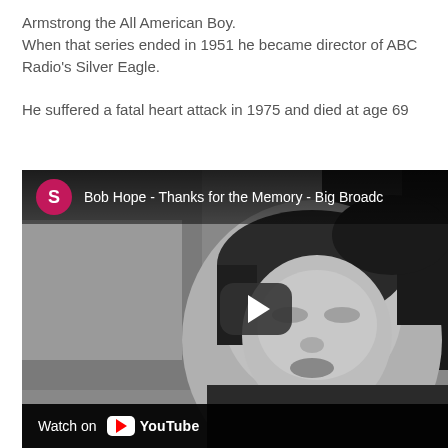Armstrong the All American Boy.
When that series ended in 1951 he became director of ABC Radio's Silver Eagle.

He suffered a fatal heart attack in 1975 and died at age 69
[Figure (screenshot): YouTube video thumbnail showing a black-and-white still of a woman from an old film, with channel icon (pink circle with letter S), video title 'Bob Hope - Thanks for the Memory - Big Broadc...', a play button in the center, and 'Watch on YouTube' in the bottom bar.]